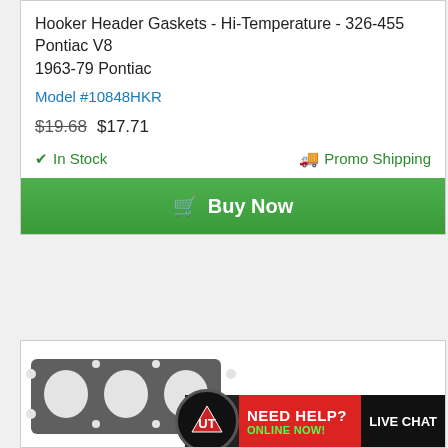Hooker Header Gaskets - Hi-Temperature - 326-455 Pontiac V8 1963-79 Pontiac
Model #10848HKR
$19.68  $17.71
✔ In Stock    🚚 Promo Shipping
Buy Now
[Figure (screenshot): Bottom product card showing gasket image and Need Help live chat banner]